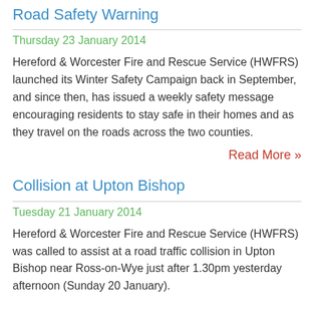Road Safety Warning
Thursday 23 January 2014
Hereford & Worcester Fire and Rescue Service (HWFRS) launched its Winter Safety Campaign back in September, and since then, has issued a weekly safety message encouraging residents to stay safe in their homes and as they travel on the roads across the two counties.
Read More »
Collision at Upton Bishop
Tuesday 21 January 2014
Hereford & Worcester Fire and Rescue Service (HWFRS) was called to assist at a road traffic collision in Upton Bishop near Ross-on-Wye just after 1.30pm yesterday afternoon (Sunday 20 January).